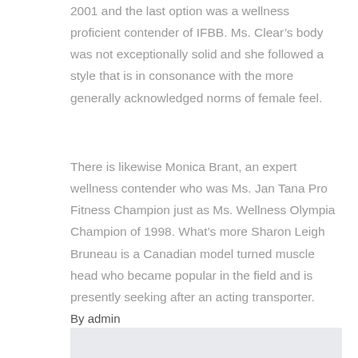2001 and the last option was a wellness proficient contender of IFBB. Ms. Clear’s body was not exceptionally solid and she followed a style that is in consonance with the more generally acknowledged norms of female feel.
There is likewise Monica Brant, an expert wellness contender who was Ms. Jan Tana Pro Fitness Champion just as Ms. Wellness Olympia Champion of 1998. What’s more Sharon Leigh Bruneau is a Canadian model turned muscle head who became popular in the field and is presently seeking after an acting transporter.
By admin